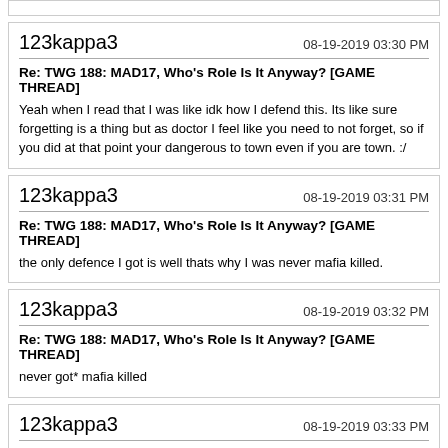(partial top post strip)
123kappa3 — 08-19-2019 03:30 PM
Re: TWG 188: MAD17, Who's Role Is It Anyway? [GAME THREAD]
Yeah when I read that I was like idk how I defend this. Its like sure forgetting is a thing but as doctor I feel like you need to not forget, so if you did at that point your dangerous to town even if you are town. :/
123kappa3 — 08-19-2019 03:31 PM
Re: TWG 188: MAD17, Who's Role Is It Anyway? [GAME THREAD]
the only defence I got is well thats why I was never mafia killed.
123kappa3 — 08-19-2019 03:32 PM
Re: TWG 188: MAD17, Who's Role Is It Anyway? [GAME THREAD]
never got* mafia killed
123kappa3 — 08-19-2019 03:33 PM